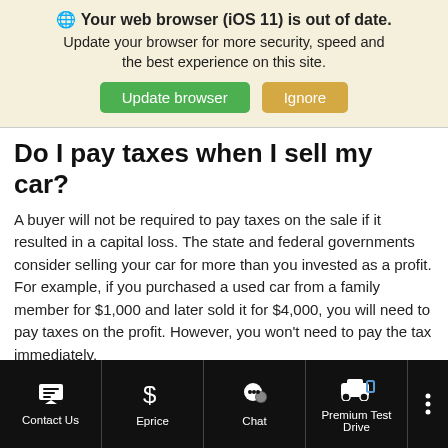🌐 Your web browser (iOS 11) is out of date. Update your browser for more security, speed and the best experience on this site.
Do I pay taxes when I sell my car?
A buyer will not be required to pay taxes on the sale if it resulted in a capital loss. The state and federal governments consider selling your car for more than you invested as a profit. For example, if you purchased a used car from a family member for $1,000 and later sold it for $4,000, you will need to pay taxes on the profit. However, you won't need to pay the tax immediately.
Can you sell your car to a dealership?
Contact Us | Eprice | Chat | Premium Test Drive